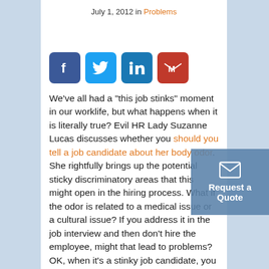July 1, 2012 in Problems
[Figure (infographic): Social media share icons: Facebook (blue), Twitter (light blue), LinkedIn (dark blue), Gmail (red)]
We’ve all had a “this job stinks” moment in our worklife, but what happens when it is literally true? Evil HR Lady Suzanne Lucas discusses whether you should you tell a job candidate about her body odor. She rightfully brings up the potential sticky discriminatory areas that this might open in the hiring process. What if the odor is related to a medical issue or a cultural issue? If you address it in the job interview and then don't hire the employee, might that lead to problems?
OK, when it’s a stinky job candidate, you may simply be able to sidestep the issue, but what if the odor problem involves a current employee? A not insubstantial part of the HR
[Figure (infographic): Request a Quote button overlay with envelope icon]